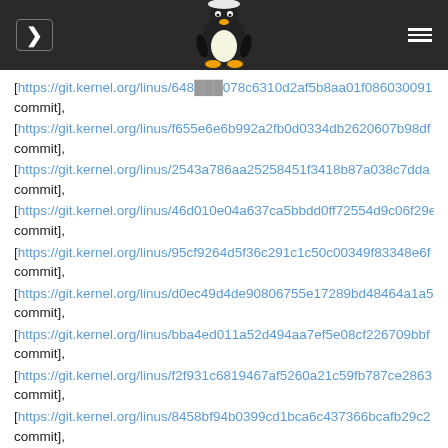Navigation header with Linux Tux logo
[https://git.kernel.org/linus/648...078c6310d2af5b8aa01f086030091 commit],
[https://git.kernel.org/linus/f655e6e6b992a2fb0d0334db2620607b98df commit],
[https://git.kernel.org/linus/2543a786aa25258451f3418b87a038c7dda commit],
[https://git.kernel.org/linus/46d010e04a637ca5bbdd0ff72554d9c06f29e commit],
[https://git.kernel.org/linus/95cf9264d5f36c291c1c50c00349f83348e6f commit],
[https://git.kernel.org/linus/d0ec49d4de90806755e17289bd48464a1a5 commit],
[https://git.kernel.org/linus/bba4ed011a52d494aa7ef5e08cf226709bbf commit],
[https://git.kernel.org/linus/f2f931c6819467af5260a21c59fb787ce2863 commit],
[https://git.kernel.org/linus/8458bf94b0399cd1bca6c437366bcafb29c2 commit],
[https://git.kernel.org/linus/db516997a985b461f021d594e78155bbc7fc commit],